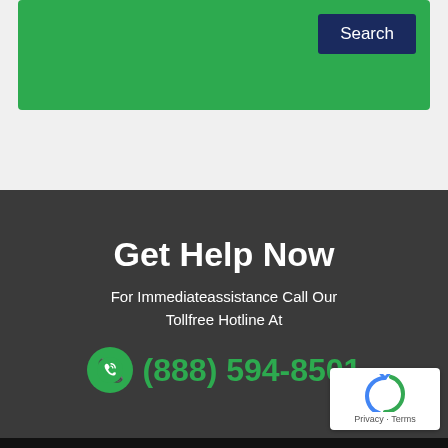[Figure (screenshot): Green search bar with navy Search button]
Get Help Now
For Immediateassistance Call Our Tollfree Hotline At
(888) 594-8501
[Figure (logo): reCAPTCHA badge with Privacy and Terms links]